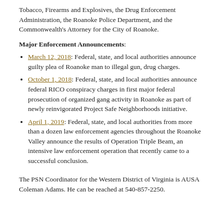Tobacco, Firearms and Explosives, the Drug Enforcement Administration, the Roanoke Police Department, and the Commonwealth's Attorney for the City of Roanoke.
Major Enforcement Announcements:
March 12, 2018: Federal, state, and local authorities announce guilty plea of Roanoke man to illegal gun, drug charges.
October 1, 2018: Federal, state, and local authorities announce federal RICO conspiracy charges in first major federal prosecution of organized gang activity in Roanoke as part of newly reinvigorated Project Safe Neighborhoods initiative.
April 1, 2019: Federal, state, and local authorities from more than a dozen law enforcement agencies throughout the Roanoke Valley announce the results of Operation Triple Beam, an intensive law enforcement operation that recently came to a successful conclusion.
The PSN Coordinator for the Western District of Virginia is AUSA Coleman Adams. He can be reached at 540-857-2250.